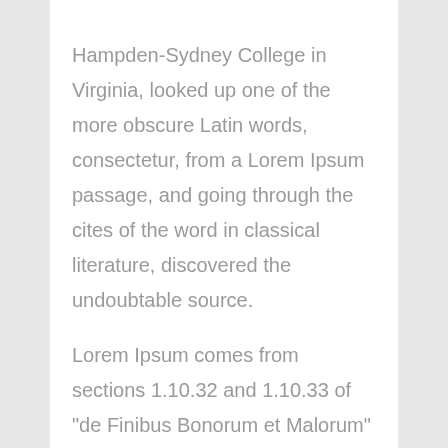Hampden-Sydney College in Virginia, looked up one of the more obscure Latin words, consectetur, from a Lorem Ipsum passage, and going through the cites of the word in classical literature, discovered the undoubtable source.

Lorem Ipsum comes from sections 1.10.32 and 1.10.33 of "de Finibus Bonorum et Malorum" (The Extremes of Good and Evil) by Cicero, written in 45 BC. This book is a treatise on the theory